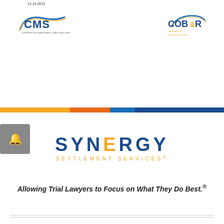12.14.2015
[Figure (logo): CMS Centers for Medicare & Medicaid Services logo]
[Figure (logo): COB&R Coordination of Benefits and Recovery logo]
[Figure (infographic): Horizontal color bar divider: orange, red-orange, light blue, dark blue segments]
[Figure (logo): Synergy Settlement Services logo with tagline]
Allowing Trial Lawyers to Focus on What They Do Best.®